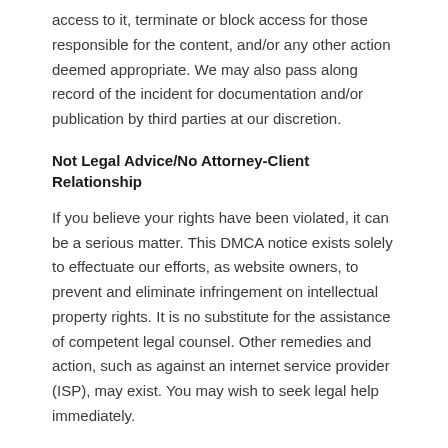access to it, terminate or block access for those responsible for the content, and/or any other action deemed appropriate. We may also pass along record of the incident for documentation and/or publication by third parties at our discretion.
Not Legal Advice/No Attorney-Client Relationship
If you believe your rights have been violated, it can be a serious matter. This DMCA notice exists solely to effectuate our efforts, as website owners, to prevent and eliminate infringement on intellectual property rights. It is no substitute for the assistance of competent legal counsel. Other remedies and action, such as against an internet service provider (ISP), may exist. You may wish to seek legal help immediately.
Notification